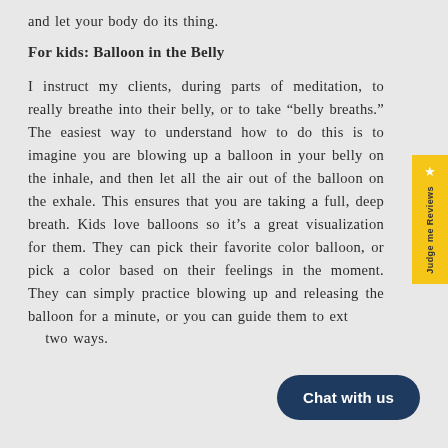and let your body do its thing.
For kids: Balloon in the Belly
I instruct my clients, during parts of meditation, to really breathe into their belly, or to take “belly breaths.” The easiest way to understand how to do this is to imagine you are blowing up a balloon in your belly on the inhale, and then let all the air out of the balloon on the exhale. This ensures that you are taking a full, deep breath. Kids love balloons so it’s a great visualization for them. They can pick their favorite color balloon, or pick a color based on their feelings in the moment. They can simply practice blowing up and releasing the balloon for a minute, or you can guide them to extend it in two ways.